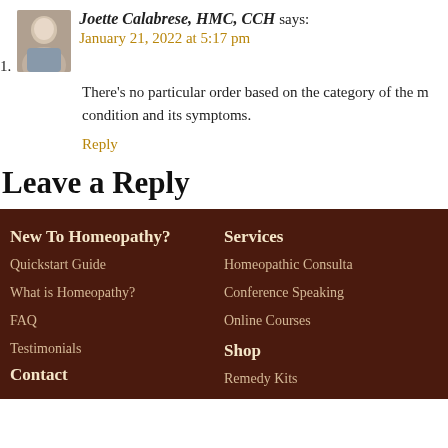1. Joette Calabrese, HMC, CCH says:
January 21, 2022 at 5:17 pm
There's no particular order based on the category of the m... condition and its symptoms.
Reply
Leave a Reply
New To Homeopathy?
Quickstart Guide
What is Homeopathy?
FAQ
Testimonials
Contact
Services
Homeopathic Consulta...
Conference Speaking
Online Courses
Shop
Remedy Kits